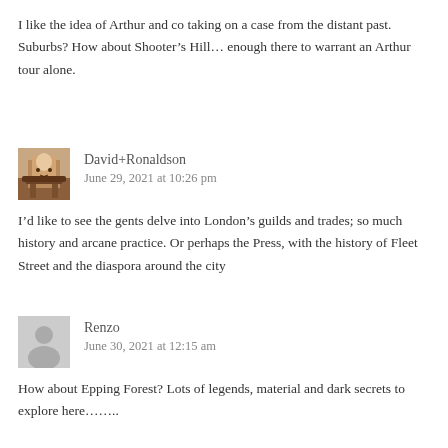I like the idea of Arthur and co taking on a case from the distant past. Suburbs? How about Shooter’s Hill… enough there to warrant an Arthur tour alone.
David+Ronaldson
June 29, 2021 at 10:26 pm
I’d like to see the gents delve into London’s guilds and trades; so much history and arcane practice. Or perhaps the Press, with the history of Fleet Street and the diaspora around the city
Renzo
June 30, 2021 at 12:15 am
How about Epping Forest? Lots of legends, material and dark secrets to explore here……..